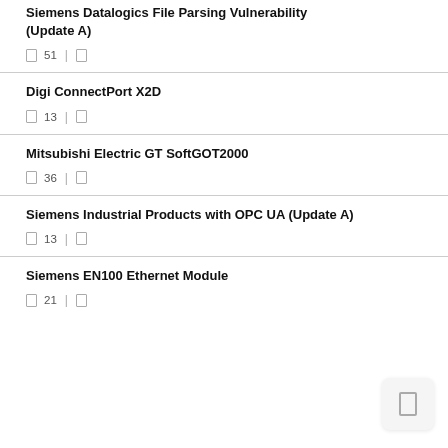Siemens Datalogics File Parsing Vulnerability (Update A)
51
Digi ConnectPort X2D
13
Mitsubishi Electric GT SoftGOT2000
36
Siemens Industrial Products with OPC UA (Update A)
13
Siemens EN100 Ethernet Module
21